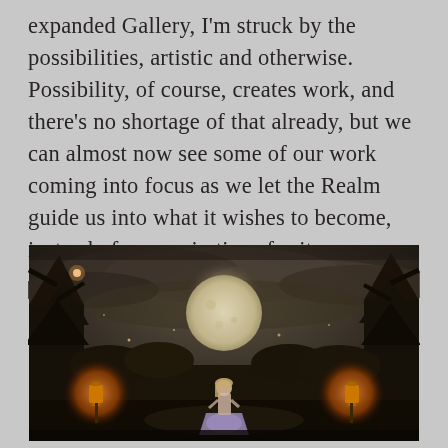expanded Gallery, I'm struck by the possibilities, artistic and otherwise. Possibility, of course, creates work, and there's no shortage of that already, but we can almost now see some of our work coming into focus as we let the Realm guide us into what it wishes to become, instead of our aspirations for it.
[Figure (illustration): A dark fantasy atmospheric image showing a figure standing in a moonlit night scene. A large full moon glows in a cloudy sky. Trees frame the sides. Warm glowing lanterns are visible on the left and right sides. The overall mood is dark, mysterious, and ethereal with sepia/dark tones.]